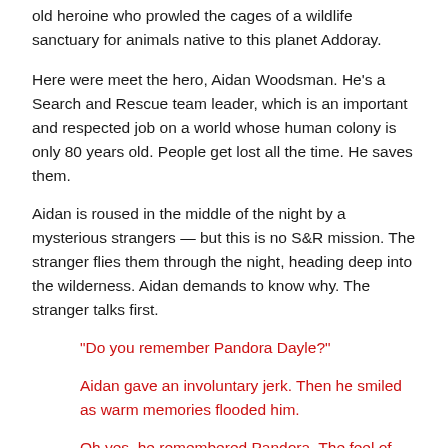old heroine who prowled the cages of a wildlife sanctuary for animals native to this planet Addoray.
Here were meet the hero, Aidan Woodsman. He's a Search and Rescue team leader, which is an important and respected job on a world whose human colony is only 80 years old. People get lost all the time. He saves them.
Aidan is roused in the middle of the night by a mysterious strangers — but this is no S&R mission. The stranger flies them through the night, heading deep into the wilderness. Aidan demands to know why. The stranger talks first.
“Do you remember Pandora Dayle?”
Aidan gave an involuntary jerk. Then he smiled as warm memories flooded him.
Oh yes, he remembered Pandora. The feel of her